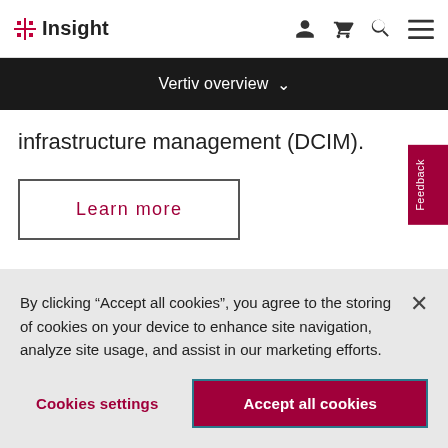Insight
Vertiv overview
infrastructure management (DCIM).
Learn more
Feedback
By clicking “Accept all cookies”, you agree to the storing of cookies on your device to enhance site navigation, analyze site usage, and assist in our marketing efforts.
Cookies settings
Accept all cookies